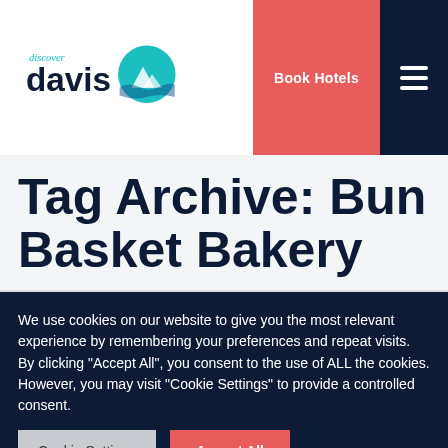[Figure (logo): Discover Davis logo with teal mountain/wave icon and 'discover davis' text]
Book Hotels
Tag Archive: Bun Basket Bakery
We use cookies on our website to give you the most relevant experience by remembering your preferences and repeat visits. By clicking "Accept All", you consent to the use of ALL the cookies. However, you may visit "Cookie Settings" to provide a controlled consent.
Cookie Settings
Accept All